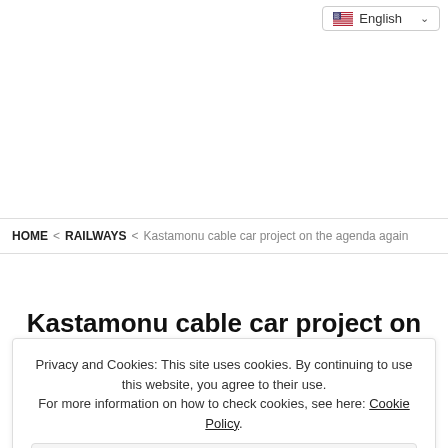English 🇺🇸 ▾
HOME › RAILWAYS › Kastamonu cable car project on the agenda again
Kastamonu cable car project on
Privacy and Cookies: This site uses cookies. By continuing to use this website, you agree to their use.
For more information on how to check cookies, see here: Cookie Policy
OK